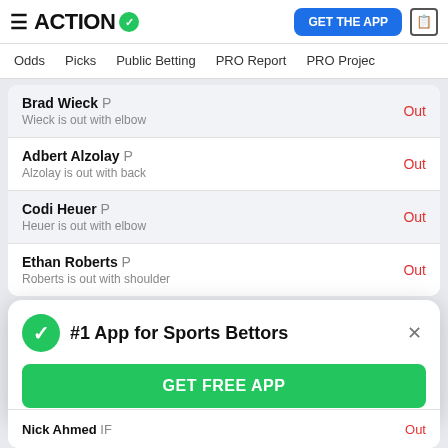ACTION (with checkmark logo) | GET THE APP | document icon
Odds | Picks | Public Betting | PRO Report | PRO Project
| Player | Status |
| --- | --- |
| Brad Wieck P — Wieck is out with elbow | Out |
| Adbert Alzolay P — Alzolay is out with back | Out |
| Codi Heuer P — Heuer is out with elbow | Out |
| Ethan Roberts P — Roberts is out with shoulder | Out |
#1 App for Sports Bettors
GET FREE APP
Nick Ahmed IF Out